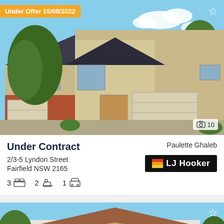[Figure (photo): Exterior photo of a brick townhouse with garage, trees, blue sky background. Under Offer badge dated 15/08/2022 in orange top-left. Star icon top-right. Photo count badge showing 10 bottom-right.]
Under Offer 15/08/2022
Under Contract
2/3-5 Lyndon Street
Fairfield NSW 2165
3 [bed] 2 [bath] 1 [car]
Paulette Ghaleb
[Figure (logo): LJ Hooker agency logo, black background with red/yellow/orange flag icon and white text 'LJ Hooker']
[Figure (photo): Exterior photo of a white single-storey house with tiled roof, verandah, trees, blue sky. Star icon top-right.]